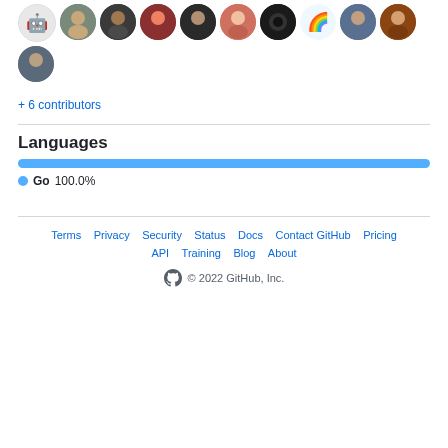[Figure (illustration): Row of 10 circular avatar/profile images of contributors]
[Figure (illustration): Second row with one circular avatar image]
+ 6 contributors
Languages
[Figure (bar-chart): Languages]
Go 100.0%
Terms · Privacy · Security · Status · Docs · Contact GitHub · Pricing · API · Training · Blog · About · © 2022 GitHub, Inc.